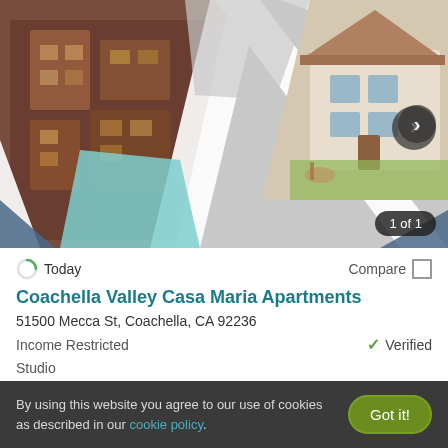[Figure (photo): Apartment building photo mosaic collage with diamond-shaped image tiles showing exterior views of Coachella Valley Casa Maria Apartments]
1 of 1
Today
Compare
Coachella Valley Casa Maria Apartments
51500 Mecca St, Coachella, CA 92236
Income Restricted
Verified
Studio
$1,025+
By using this website you agree to our use of cookies as described in our cookie policy.